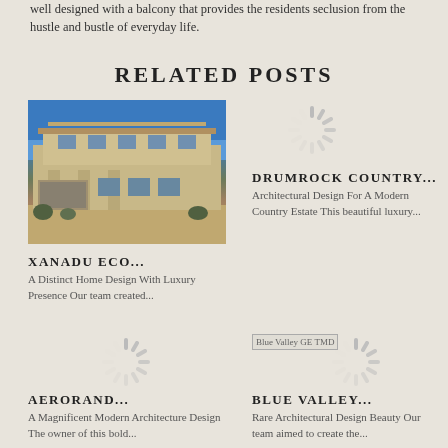well designed with a balcony that provides the residents seclusion from the hustle and bustle of everyday life.
RELATED POSTS
[Figure (photo): Exterior photo of a large two-story luxury house with tan stone facade under a blue sky]
XANADU ECO...
A Distinct Home Design With Luxury Presence Our team created...
[Figure (other): Loading spinner icon for Drumrock Country post]
DRUMROCK COUNTRY...
Architectural Design For A Modern Country Estate This beautiful luxury...
[Figure (other): Loading spinner icon for Aerorand post]
AERORAND...
A Magnificent Modern Architecture Design The owner of this bold...
[Figure (other): Blue Valley GE TMD thumbnail image with loading spinner]
BLUE VALLEY...
Rare Architectural Design Beauty Our team aimed to create the...